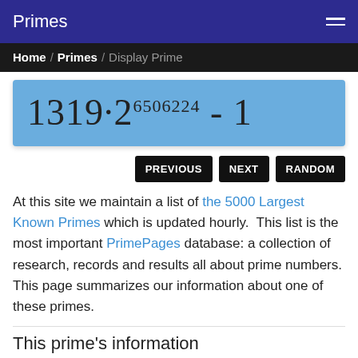Primes
Home / Primes / Display Prime
PREVIOUS  NEXT  RANDOM
At this site we maintain a list of the 5000 Largest Known Primes which is updated hourly.  This list is the most important PrimePages database: a collection of research, records and results all about prime numbers.  This page summarizes our information about one of these primes.
This prime's information